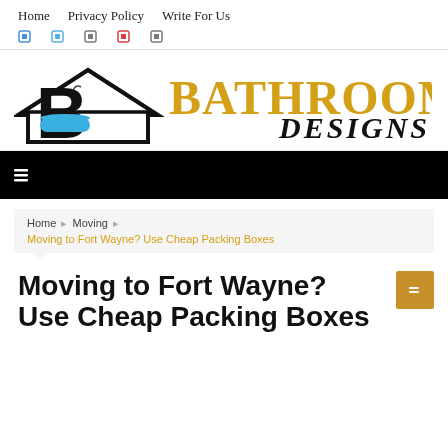Home   Privacy Policy   Write For Us
[Figure (logo): Bathrooms Designs logo with stylized B and house icon, text 'BATHROOMS DESIGNS' in gold and black]
[Figure (other): Black navigation banner with white menu icon]
Home > Moving > Moving to Fort Wayne? Use Cheap Packing Boxes
Moving to Fort Wayne? Use Cheap Packing Boxes